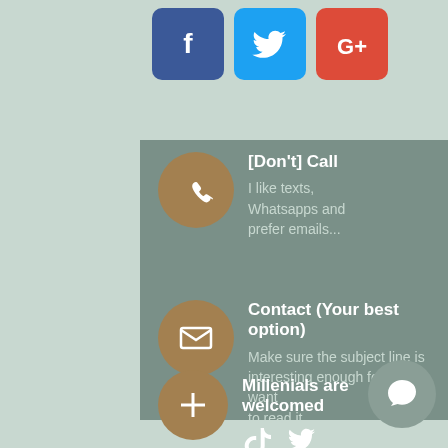[Figure (infographic): Social media icons: Facebook (blue), Twitter (light blue), Google+ (red) at the top]
[Don't] Call – I like texts, Whatsapps and prefer emails...
Contact (Your best option) – Make sure the subject line is interesting enough for me to want to read it.
Millenials are welcomed – TikTok and Twitter icons shown
[Figure (infographic): Chat bubble circle button in lower right corner]